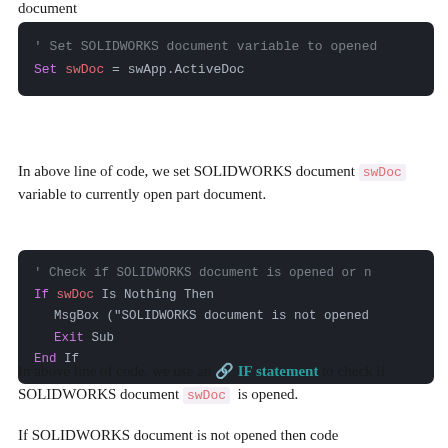document
[Figure (screenshot): Code block: ' Set SOLIDWORKS document variable to opened document
Set swDoc = swApp.ActiveDoc]
In above line of code, we set SOLIDWORKS document swDoc variable to currently open part document.
[Figure (screenshot): Code block: ' Check if SOLIDWORKS document is opened or not
If swDoc Is Nothing Then
  MsgBox ("SOLIDWORKS document is not opened")
  Exit Sub
End If]
In above line of code, we use an 🔗 IF statement to check if SOLIDWORKS document swDoc is opened.
If SOLIDWORKS document is not opened then code